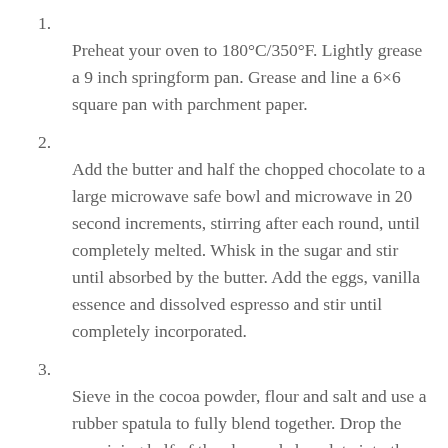Preheat your oven to 180°C/350°F. Lightly grease a 9 inch springform pan. Grease and line a 6×6 square pan with parchment paper.
Add the butter and half the chopped chocolate to a large microwave safe bowl and microwave in 20 second increments, stirring after each round, until completely melted. Whisk in the sugar and stir until absorbed by the butter. Add the eggs, vanilla essence and dissolved espresso and stir until completely incorporated.
Sieve in the cocoa powder, flour and salt and use a rubber spatula to fully blend together. Drop the remaining half of the chopped chocolate into the thick batter, and stir gently to distribute.